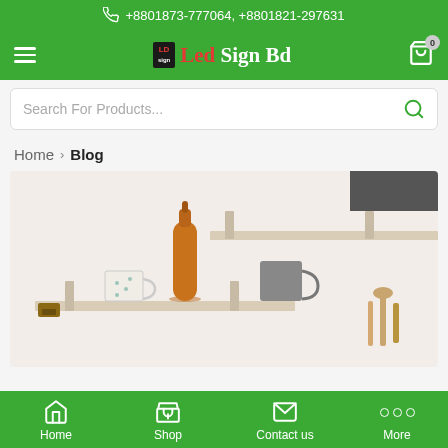+8801873-777064, +8801821-297631
[Figure (logo): Led Sign Bd logo with hamburger menu and cart icon on green navigation bar]
Search For Products...
Home > Blog
[Figure (photo): Wooden shelves mounted on white wall with a brown glass bottle, a patterned ceramic mug, a grey ceramic mug, and wooden decorative figurines]
Home | Shop | Contact us | More